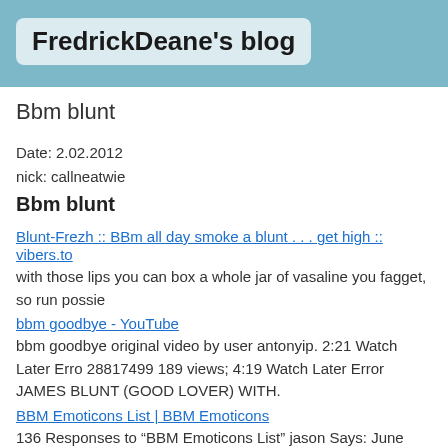FredrickDeane's blog
Bbm blunt
Date: 2.02.2012
nick: callneatwie
Bbm blunt
Blunt-Frezh :: BBm all day smoke a blunt . . . get high :: vibers.to
with those lips you can box a whole jar of vasaline you fagget, so run possie
bbm goodbye - YouTube
bbm goodbye original video by user antonyip. 2:21 Watch Later Erro 28817499 189 views; 4:19 Watch Later Error JAMES BLUNT (GOOD LOVER) WITH.
BBM Emoticons List | BBM Emoticons
136 Responses to "BBM Emoticons List" jason Says: June 18th, 201 pm. thanks for the article! where can those emoctions be attained?